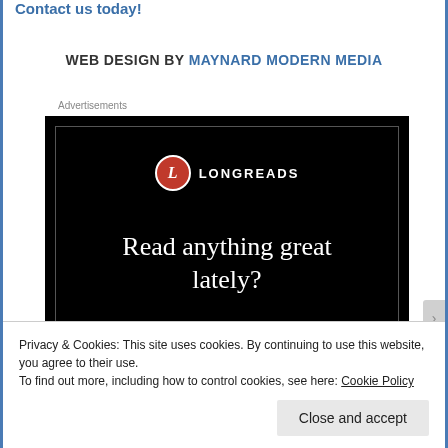Contact us today!
WEB DESIGN BY MAYNARD MODERN MEDIA
Advertisements
[Figure (illustration): Longreads advertisement on black background with red circle L logo, text reading 'Read anything great lately?']
Privacy & Cookies: This site uses cookies. By continuing to use this website, you agree to their use.
To find out more, including how to control cookies, see here: Cookie Policy
Close and accept